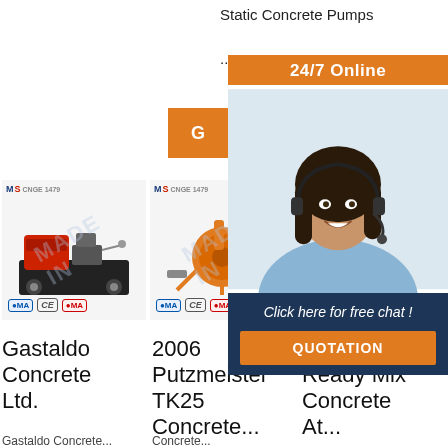Static Concrete Pumps
...
[Figure (screenshot): 24/7 Online chat overlay with woman wearing headset, QUOTATION button]
[Figure (photo): Red diesel concrete pump machine with MS CNGE 1479 logo and CE CMA certification badges]
Gastaldo Concrete Ltd.
Gastaldo Concrete...
[Figure (photo): Orange Putzmeister TK25 concrete pump machine with MS CNGE 1479 logo and CE CMA certification badges]
2006 Putzmeister TK25 Concrete...
[Figure (photo): Third product card, partially obscured by chat overlay]
Order Ready Mix Concrete At...